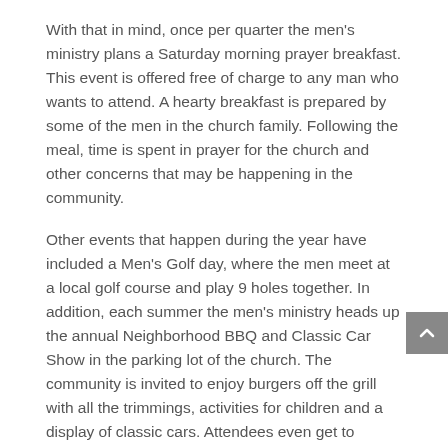With that in mind, once per quarter the men's ministry plans a Saturday morning prayer breakfast. This event is offered free of charge to any man who wants to attend. A hearty breakfast is prepared by some of the men in the church family. Following the meal, time is spent in prayer for the church and other concerns that may be happening in the community.
Other events that happen during the year have included a Men's Golf day, where the men meet at a local golf course and play 9 holes together. In addition, each summer the men's ministry heads up the annual Neighborhood BBQ and Classic Car Show in the parking lot of the church. The community is invited to enjoy burgers off the grill with all the trimmings, activities for children and a display of classic cars. Attendees even get to participate in voting for their favorite classic car. The event is free and all are welcome!